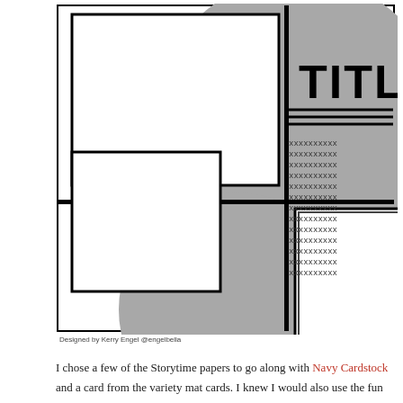[Figure (illustration): Scrapbook layout sketch/template showing a white background with a large gray circle spanning both upper and lower right areas. Contains three white photo boxes with black borders (one large upper-left, one medium lower-left, one large lower-right), a bold 'TITLE' text in upper right, three horizontal black lines beneath title, and a column of 'xxxxxxxxxx' placeholder text. A vertical black line and horizontal black line divide the layout.]
Designed by Kerry Engel @engelbella
I chose a few of the Storytime papers to go along with Navy Cardstock and a card from the variety mat cards. I knew I would also use the fun new Moon and Stars Chain Border Maker Cartridge (along with other favorites you'll see in a minute!) and